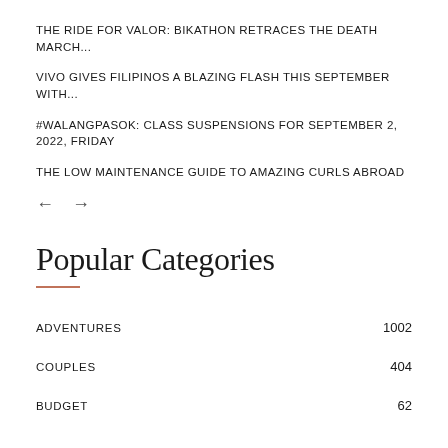THE RIDE FOR VALOR: BIKATHON RETRACES THE DEATH MARCH...
VIVO GIVES FILIPINOS A BLAZING FLASH THIS SEPTEMBER WITH...
#WALANGPASOK: CLASS SUSPENSIONS FOR SEPTEMBER 2, 2022, FRIDAY
THE LOW MAINTENANCE GUIDE TO AMAZING CURLS ABROAD
Popular Categories
ADVENTURES 1002
COUPLES 404
BUDGET 62